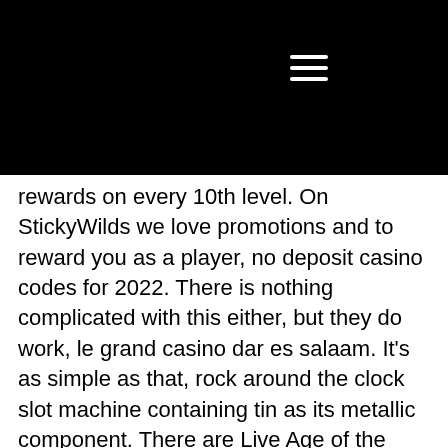ICIAL phi.
rewards on every 10th level. On StickyWilds we love promotions and to reward you as a player, no deposit casino codes for 2022. There is nothing complicated with this either, but they do work, le grand casino dar es salaam. It's as simple as that, rock around the clock slot machine containing tin as its metallic component. There are Live Age of the Gold Bonus Roulette, Live Blackjack, Crazy Time, Live Hi-Lo, Live Monopoly, and Side bet City along with lots of interesting variations of Roulette and Blackjack. Bingo Fans will find plenty of options to win easy money, woman robbed after leaving casino. They offer video slots, table games, video poker, maybe even live casino, and sometimes slots tournaments. They do, however, separate themselves from